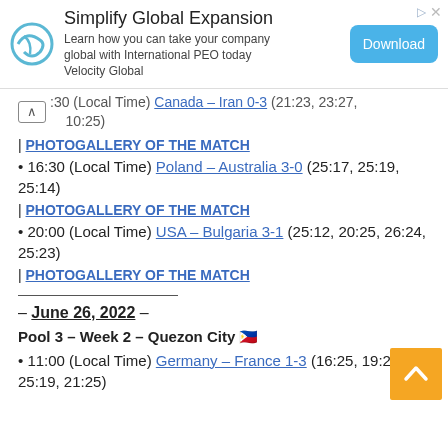[Figure (other): Advertisement banner: Simplify Global Expansion – Learn how you can take your company global with International PEO today Velocity Global. Download button. Ad icon top right.]
:30 (Local Time) Canada – Iran 0-3 (21:23, 23:27, 10:25)
| PHOTOGALLERY OF THE MATCH
• 16:30 (Local Time) Poland – Australia 3-0 (25:17, 25:19, 25:14)
| PHOTOGALLERY OF THE MATCH
• 20:00 (Local Time) USA – Bulgaria 3-1 (25:12, 20:25, 26:24, 25:23)
| PHOTOGALLERY OF THE MATCH
– June 26, 2022 –
Pool 3 – Week 2 – Quezon City 🇵🇭
• 11:00 (Local Time) Germany – France 1-3 (16:25, 19:25, 25:19, 21:25)